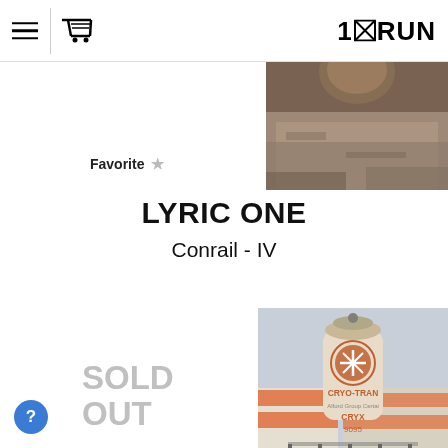1×RUN
[Figure (photo): Partial top view of a product image showing brown/tan textured surface]
Favorite ★
LYRIC ONE
Conrail - IV
SOLD OUT
[Figure (photo): A spray paint can labeled CRYO-TRAN, CRYX, 9095, with an orange snowflake logo, photographed in front of graffiti-painted train cars on tracks under an overcast sky]